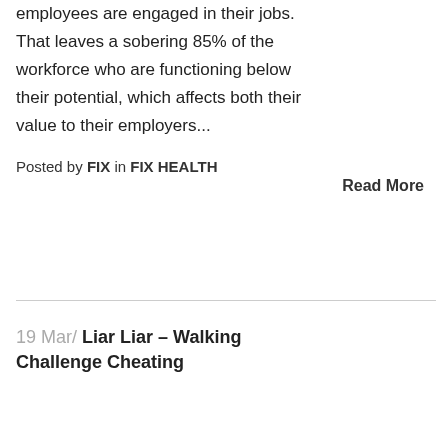employees are engaged in their jobs. That leaves a sobering 85% of the workforce who are functioning below their potential, which affects both their value to their employers...
Posted by FIX in FIX HEALTH
Read More
19 Mar/ Liar Liar – Walking Challenge Cheating